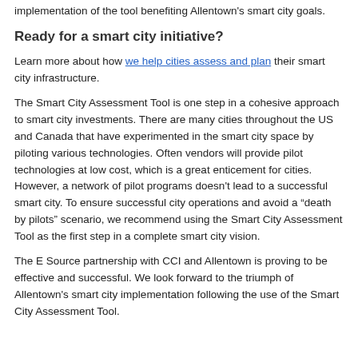implementation of the tool benefiting Allentown's smart city goals.
Ready for a smart city initiative?
Learn more about how we help cities assess and plan their smart city infrastructure.
The Smart City Assessment Tool is one step in a cohesive approach to smart city investments. There are many cities throughout the US and Canada that have experimented in the smart city space by piloting various technologies. Often vendors will provide pilot technologies at low cost, which is a great enticement for cities. However, a network of pilot programs doesn't lead to a successful smart city. To ensure successful city operations and avoid a “death by pilots” scenario, we recommend using the Smart City Assessment Tool as the first step in a complete smart city vision.
The E Source partnership with CCI and Allentown is proving to be effective and successful. We look forward to the triumph of Allentown's smart city implementation following the use of the Smart City Assessment Tool.